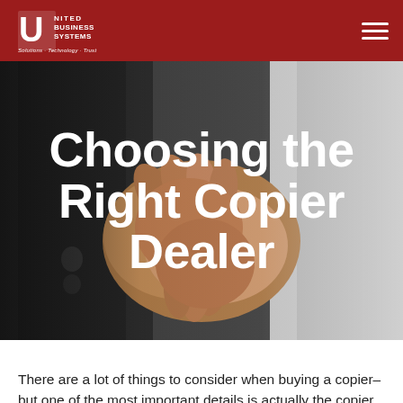United Business Systems — Solutions · Technology · Trust
[Figure (photo): Two businesspeople shaking hands, dark suits, close-up, grayscale/warm-toned background photo used as hero image]
Choosing the Right Copier Dealer
There are a lot of things to consider when buying a copier–but one of the most important details is actually the copier dealer. Dealers can drastically change your shopping experience and your experience with the copier overall, which means that this is one choice you don't want to take